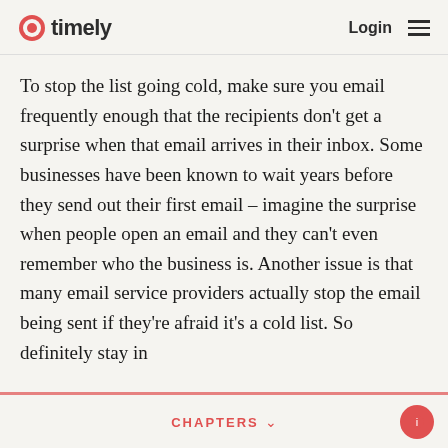timely | Login
To stop the list going cold, make sure you email frequently enough that the recipients don't get a surprise when that email arrives in their inbox. Some businesses have been known to wait years before they send out their first email – imagine the surprise when people open an email and they can't even remember who the business is. Another issue is that many email service providers actually stop the email being sent if they're afraid it's a cold list. So definitely stay in
CHAPTERS